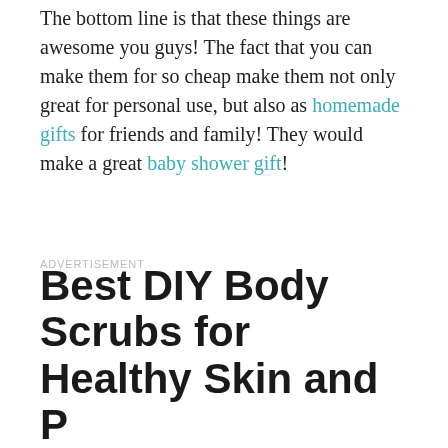The bottom line is that these things are awesome you guys! The fact that you can make them for so cheap make them not only great for personal use, but also as homemade gifts for friends and family! They would make a great baby shower gift!
ADVERTISEMENT
Best DIY Body Scrubs for Healthy Skin and P...